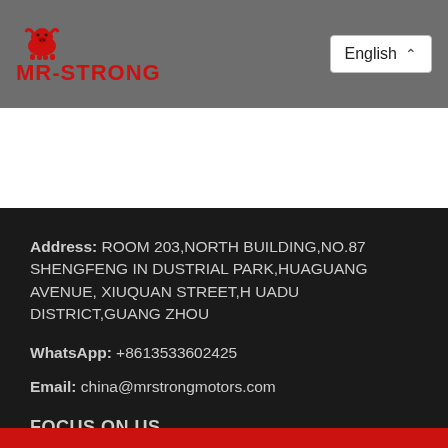[Figure (logo): MR-STRONG company logo with red animal icon and red bold text MR-STRONG on grey header background]
English ▾
Address: ROOM 203,NORTH BUILDING,NO.87 SHENGFENG INDUSTRIAL PARK,HUAGUANG AVENUE, XIUQUAN STREET,HUADU DISTRICT,GUANG ZHOU
WhatsApp: +8613533602425
Email: china@mrstrongmotors.com
FOCUS ON US